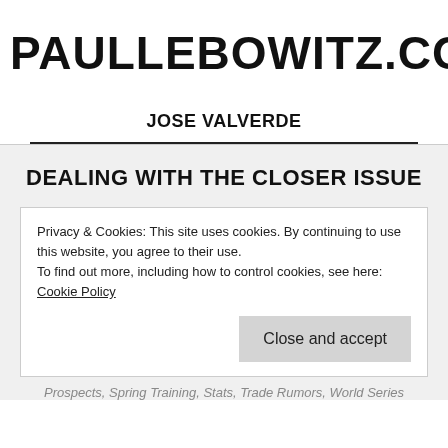PAULLEBOWITZ.COM
JOSE VALVERDE
DEALING WITH THE CLOSER ISSUE
Privacy & Cookies: This site uses cookies. By continuing to use this website, you agree to their use.
To find out more, including how to control cookies, see here: Cookie Policy
Close and accept
Prospects, Spring Training, Stats, Trade Rumors, World Series